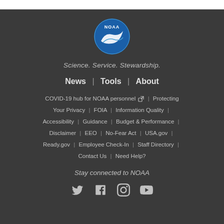[Figure (logo): NOAA circular logo with blue background, white bird/wave graphic, and 'NOAA' text at top]
Science. Service. Stewardship.
News | Tools | About
COVID-19 hub for NOAA personnel [external link icon] | Protecting Your Privacy | FOIA | Information Quality | Accessibility | Guidance | Budget & Performance | Disclaimer | EEO | No-Fear Act | USA.gov | Ready.gov | Employee Check-In | Staff Directory | Contact Us | Need Help?
Stay connected to NOAA
[Figure (illustration): Social media icons: Twitter, Facebook, Instagram, YouTube]